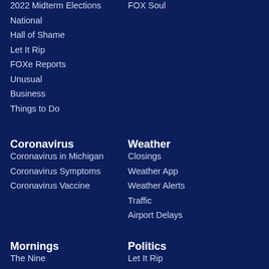2022 Midterm Elections
National
Hall of Shame
Let It Rip
FOXe Reports
Unusual
Business
Things to Do
FOX Soul
Coronavirus
Coronavirus in Michigan
Coronavirus Symptoms
Coronavirus Vaccine
Weather
Closings
Weather App
Weather Alerts
Traffic
Airport Delays
Mornings
The Nine
Politics
Let It Rip